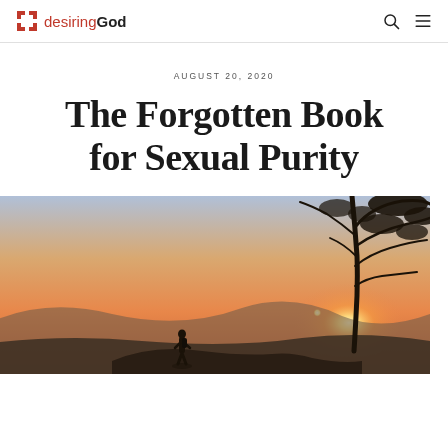desiringGod
AUGUST 20, 2020
The Forgotten Book for Sexual Purity
[Figure (photo): Silhouette of a person standing on a rock at sunset with a tree on the right side, warm orange and golden sky tones]